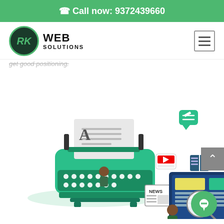Call now: 9372439660
[Figure (logo): RK Web Solutions logo with circular emblem and text]
get good positioning.
[Figure (illustration): Content marketing illustration showing a green typewriter, a person studying a computer monitor with Case Study magnifying glass, news icon, book icon, video icon, and chat bubble icon]